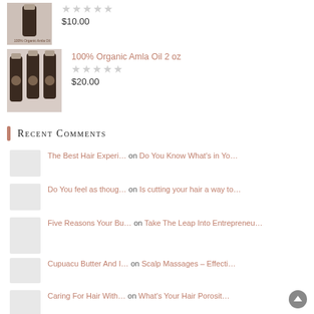[Figure (photo): Small bottle of 100% Organic Amla Oil product image]
$10.00
[Figure (photo): Three brown dropper bottles of 100% Organic Amla Oil 2oz]
100% Organic Amla Oil 2 oz
$20.00
Recent Comments
The Best Hair Experi… on Do You Know What's in Yo…
Do You feel as thoug… on Is cutting your hair a way to…
Five Reasons Your Bu… on Take The Leap Into Entrepreneu…
Cupuacu Butter And I… on Scalp Massages – Effecti…
Caring For Hair With… on What's Your Hair Porosit…